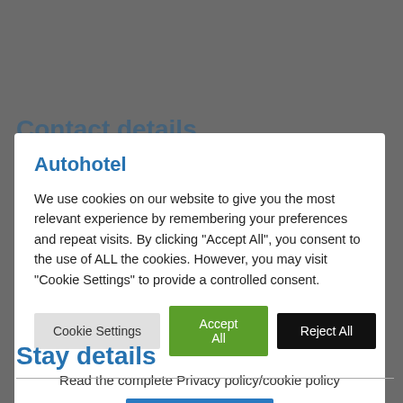Contact details
Autohotel
We use cookies on our website to give you the most relevant experience by remembering your preferences and repeat visits. By clicking "Accept All", you consent to the use of ALL the cookies. However, you may visit "Cookie Settings" to provide a controlled consent.
Cookie Settings | Accept All | Reject All
Read the complete Privacy policy/cookie policy
Read More
Stay details